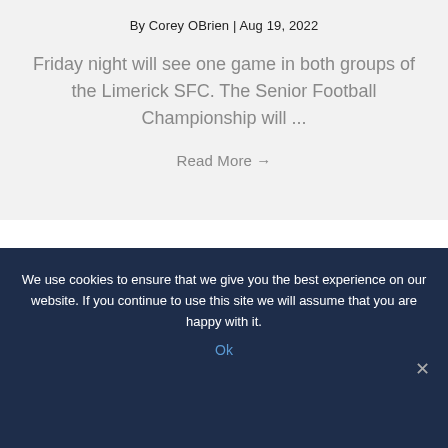By Corey OBrien | Aug 19, 2022
Friday night will see one game in both groups of the Limerick SFC. The Senior Football Championship will ...
Read More →
We use cookies to ensure that we give you the best experience on our website. If you continue to use this site we will assume that you are happy with it.
Ok